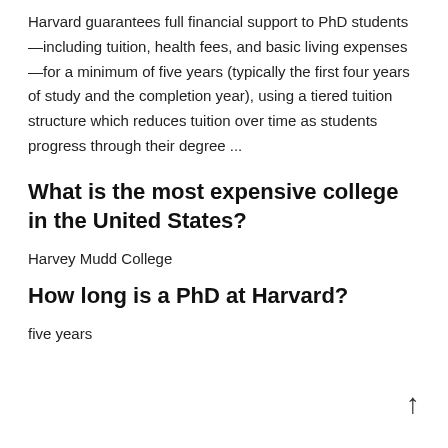Harvard guarantees full financial support to PhD students —including tuition, health fees, and basic living expenses —for a minimum of five years (typically the first four years of study and the completion year), using a tiered tuition structure which reduces tuition over time as students progress through their degree ...
What is the most expensive college in the United States?
Harvey Mudd College
How long is a PhD at Harvard?
five years